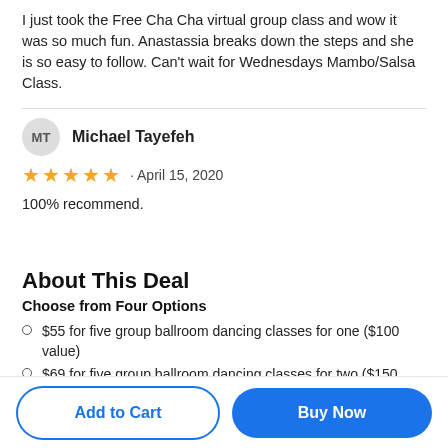I just took the Free Cha Cha virtual group class and wow it was so much fun. Anastassia breaks down the steps and she is so easy to follow. Can't wait for Wednesdays Mambo/Salsa Class.
MT  Michael Tayefeh
★★★★★ · April 15, 2020
100% recommend.
About This Deal
Choose from Four Options
$55 for five group ballroom dancing classes for one ($100 value)
$69 for five group ballroom dancing classes for two ($150